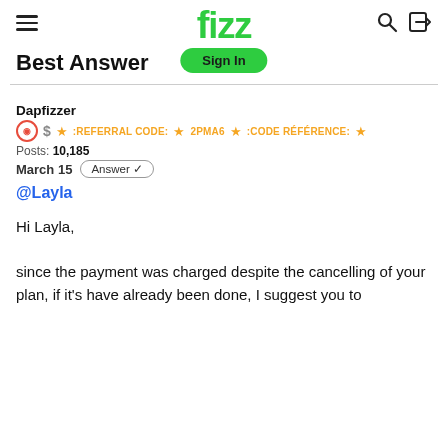[Figure (screenshot): Fizz community forum page header with hamburger menu, Fizz logo in green, Sign In button, search icon, and login icon]
Best Answer
Dapfizzer
⊙ $ ★ :REFERRAL CODE: ★ 2PMA6 ★ :CODE RÉFÉRENCE: ★
Posts: 10,185
March 15   Answer ✓
@Layla
Hi Layla,

since the payment was charged despite the cancelling of your plan, if it's have already been done, I suggest you to